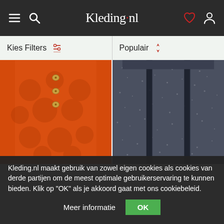Kleding.nl
Kies Filters
Populair
[Figure (photo): Orange lace pencil skirt with gold buttons down the front center]
[Figure (photo): Navy blue tweed A-line skirt with dark vertical stripe panels]
Kleding.nl maakt gebruik van zowel eigen cookies als cookies van derde partijen om de meest optimale gebruikerservaring te kunnen bieden. Klik op „OK” als je akkoord gaat met ons cookiebeleid.
Meer informatie
OK